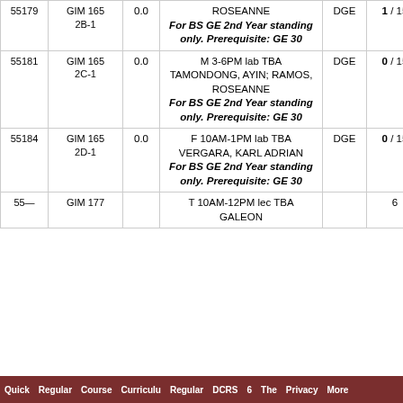| ID | Course | Units | Schedule/Instructor/Remarks | Type | Slots | Dem |  |
| --- | --- | --- | --- | --- | --- | --- | --- |
| 55179 | GIM 165 2B-1 | 0.0 | ROSEANNE
For BS GE 2nd Year standing only. Prerequisite: GE 30 | DGE | 1 / 15 | 0 |  |
| 55181 | GIM 165 2C-1 | 0.0 | M 3-6PM lab TBA
TAMONDONG, AYIN; RAMOS, ROSEANNE
For BS GE 2nd Year standing only. Prerequisite: GE 30 | DGE | 0 / 15 | 0 |  |
| 55184 | GIM 165 2D-1 | 0.0 | F 10AM-1PM lab TBA
VERGARA, KARL ADRIAN
For BS GE 2nd Year standing only. Prerequisite: GE 30 | DGE | 0 / 15 | 0 |  |
| 55— | GIM 177 | ... | T 10AM-12PM lec TBA
GALEON | ... | 6 | 0 |  |
Quick  Regular  Course  Curriculu  Regular  DCRS  6  The  Privacy  More